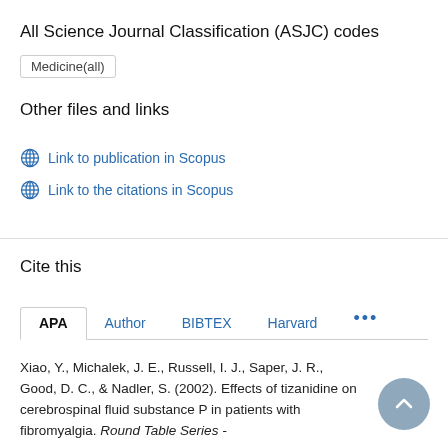All Science Journal Classification (ASJC) codes
Medicine(all)
Other files and links
Link to publication in Scopus
Link to the citations in Scopus
Cite this
APA  Author  BIBTEX  Harvard  ...
Xiao, Y., Michalek, J. E., Russell, I. J., Saper, J. R., Good, D. C., & Nadler, S. (2002). Effects of tizanidine on cerebrospinal fluid substance P in patients with fibromyalgia. Round Table Series -